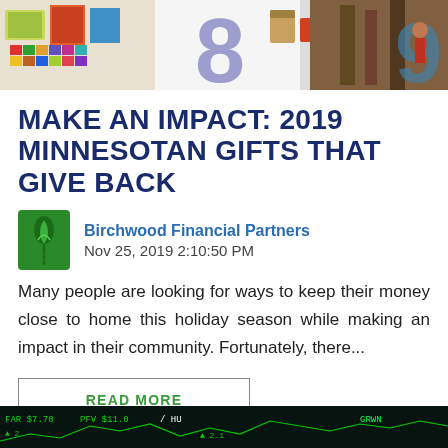[Figure (photo): Collage of colorful product images including gifts and outdoor scenes with large decorative numbers]
MAKE AN IMPACT: 2019 MINNESOTAN GIFTS THAT GIVE BACK
[Figure (logo): Birchwood Financial Partners green leaf logo]
Birchwood Financial Partners
Nov 25, 2019 2:10:50 PM
Many people are looking for ways to keep their money close to home this holiday season while making an impact in their community. Fortunately, there...
READ MORE
[Figure (photo): Dark financial stock market ticker display at bottom of page]